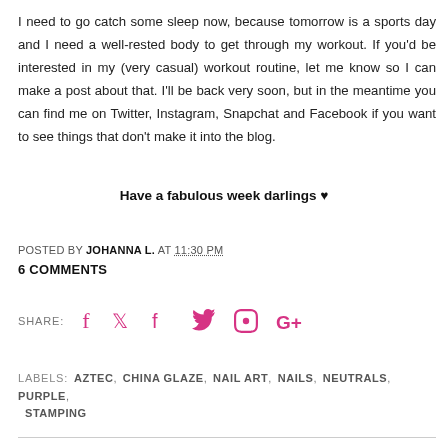I need to go catch some sleep now, because tomorrow is a sports day and I need a well-rested body to get through my workout. If you'd be interested in my (very casual) workout routine, let me know so I can make a post about that. I'll be back very soon, but in the meantime you can find me on Twitter, Instagram, Snapchat and Facebook if you want to see things that don't make it into the blog.
Have a fabulous week darlings ♥
POSTED BY JOHANNA L. AT 11:30 PM
6 COMMENTS
SHARE:
LABELS: AZTEC, CHINA GLAZE, NAIL ART, NAILS, NEUTRALS, PURPLE, STAMPING